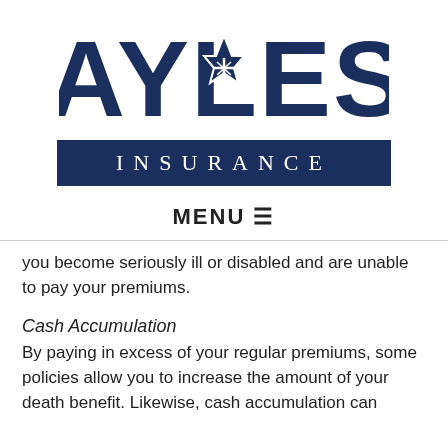[Figure (logo): Bayless Insurance logo with large bold 'BAYLESS' text featuring a star-tree emblem, and 'INSURANCE' in a dark navy bar below]
MENU ☰
you become seriously ill or disabled and are unable to pay your premiums.
Cash Accumulation
By paying in excess of your regular premiums, some policies allow you to increase the amount of your death benefit. Likewise, cash accumulation can